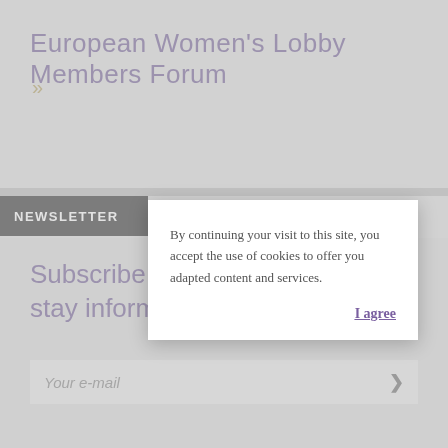European Women's Lobby Members Forum
>>
NEWSLETTER
Subscribe to our Newsletter and stay informed
Your e-mail
By continuing your visit to this site, you accept the use of cookies to offer you adapted content and services.
I agree